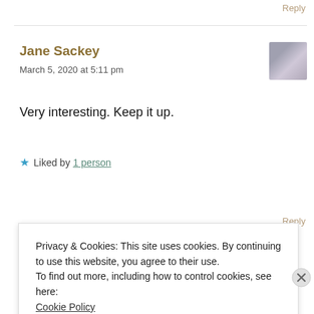Reply
Jane Sackey
March 5, 2020 at 5:11 pm
Very interesting. Keep it up.
Liked by 1 person
Reply
Privacy & Cookies: This site uses cookies. By continuing to use this website, you agree to their use.
To find out more, including how to control cookies, see here: Cookie Policy
Close and accept